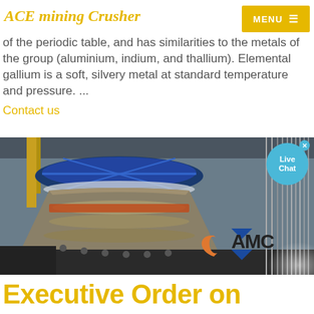ACE mining Crusher
of the periodic table, and has similarities to the metals of the group (aluminium, indium, and thallium). Elemental gallium is a soft, silvery metal at standard temperature and pressure. ...
Contact us
[Figure (photo): Industrial mining crusher machinery photograph with AMC logo overlay. Shows large cone/gyratory crusher equipment in a manufacturing facility with blue circular components at top, cables on right side, and the AMC (ACE Mining Crusher) logo in the lower right area.]
Executive Order on